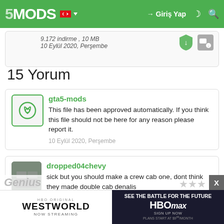5MODS | Giriş Yap
9.172 indirme , 10 MB
10 Eylül 2020, Perşembe
15 Yorum
gta5-mods
This file has been approved automatically. If you think this file should not be here for any reason please report it.
10 Eylül 2020, Perşembe
dropped04chevy
sick but you should make a crew cab one, dont think they made double cab denalis
10 Eylül 2020, Perşembe
[Figure (screenshot): HBO Original Westworld Now Streaming advertisement banner on left, and HBO Max See The Battle For The Future Sign Up Now Plans Start At $9.99/Month banner on right, with X close button]